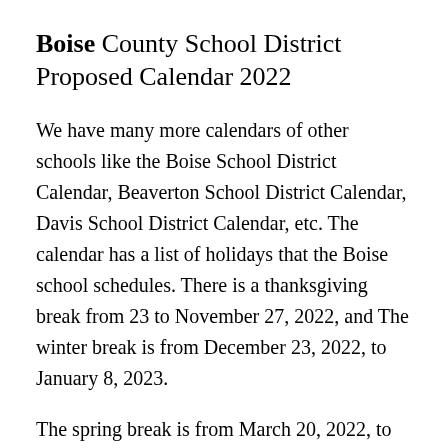Boise County School District Proposed Calendar 2022
We have many more calendars of other schools like the Boise School District Calendar, Beaverton School District Calendar, Davis School District Calendar, etc. The calendar has a list of holidays that the Boise school schedules. There is a thanksgiving break from 23 to November 27, 2022, and The winter break is from December 23, 2022, to January 8, 2023.
The spring break is from March 20, 2022, to March 26, 2022. The first day of school is August 18, 2022, whereas the last day of